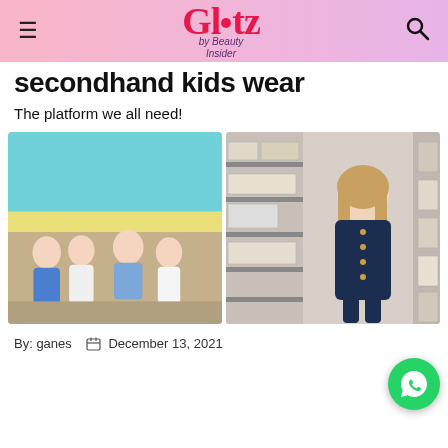Glitz by Beauty Insider
secondhand kids wear
The platform we all need!
[Figure (photo): Two photos side by side: left shows four children holding hands in front of a colorful mural; right shows a woman in a navy dress sitting in a warehouse surrounded by storage shelves and boxes.]
By: ganes    December 13, 2021